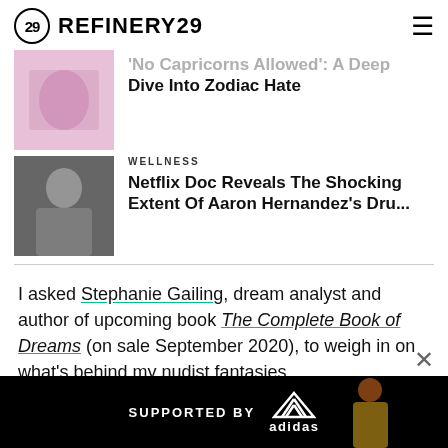REFINERY29
[Figure (photo): Thumbnail image for zodiac article]
'No Capricorns Allowed': A Deep Dive Into Zodiac Hate
[Figure (photo): Thumbnail image of Aaron Hernandez]
WELLNESS
Netflix Doc Reveals The Shocking Extent Of Aaron Hernandez's Dru...
I asked Stephanie Gailing, dream analyst and author of upcoming book The Complete Book of Dreams (on sale September 2020), to weigh in on what's behind my nudist fantasies.
"Being naked in a dream may mean something different to you th... an something different to me but at a lifeti...
[Figure (screenshot): SUPPORTED BY adidas advertisement banner at bottom of screen]